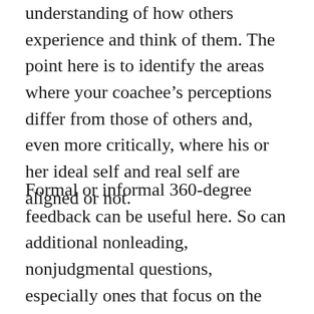understanding of how others experience and think of them. The point here is to identify the areas where your coachee's perceptions differ from those of others and, even more critically, where his or her ideal self and real self are aligned or not.
Formal or informal 360-degree feedback can be useful here. So can additional nonleading, nonjudgmental questions, especially ones that focus on the person's best qualities and how they can be leveraged. Even when discussing areas for development, it's important to keep the coaching anchored in the positive questions and